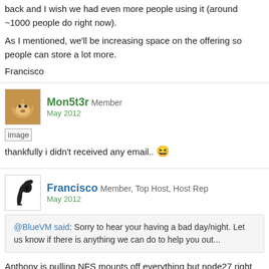back and I wish we had even more people using it (around ~1000 people do right now).
As I mentioned, we'll be increasing space on the offering so people can store a lot more.
Francisco
Mon5t3r Member
May 2012
[Figure (photo): Broken image placeholder]
thankfully i didn't received any email.. 😆
Francisco Member, Top Host, Host Rep
May 2012
@BlueVM said: Sorry to hear your having a bad day/night. Let us know if there is anything we can do to help you out...
Anthony is pulling NFS mounts off everything but node27 right now to start salvaging what he can. Some of the boxes are booted on live CD's just